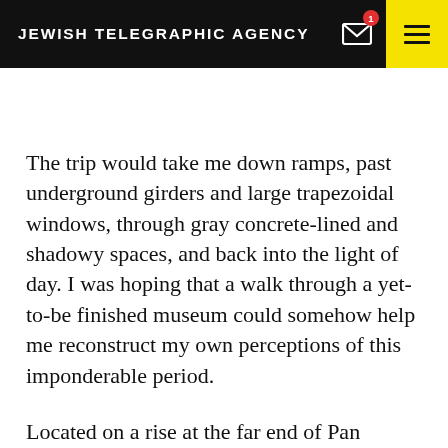JEWISH TELEGRAPHIC AGENCY
The trip would take me down ramps, past underground girders and large trapezoidal windows, through gray concrete-lined and shadowy spaces, and back into the light of day. I was hoping that a walk through a yet-to-be finished museum could somehow help me reconstruct my own perceptions of this imponderable period.
Located on a rise at the far end of Pan Pacific Park,